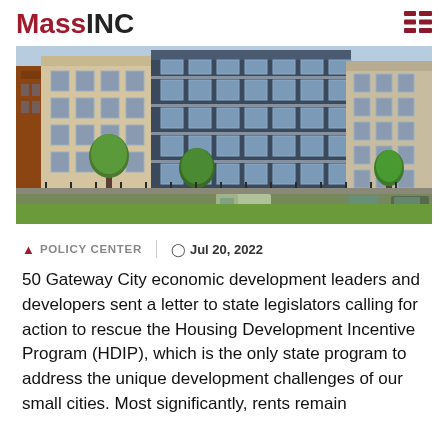MassINC
[Figure (photo): Exterior photo of a multi-story residential apartment building complex with green lawn in the foreground, trees, and a parking area with vehicles.]
▲ POLICY CENTER  |  🕐 Jul 20, 2022
50 Gateway City economic development leaders and developers sent a letter to state legislators calling for action to rescue the Housing Development Incentive Program (HDIP), which is the only state program to address the unique development challenges of our small cities. Most significantly, rents remain